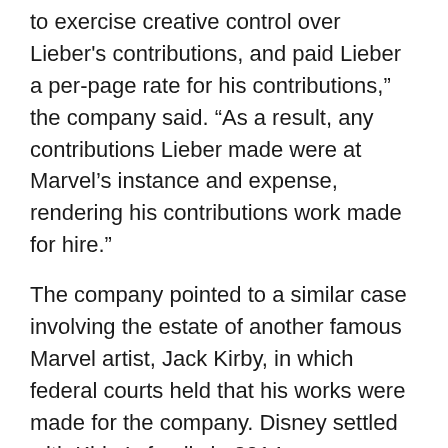to exercise creative control over Lieber's contributions, and paid Lieber a per-page rate for his contributions," the company said. "As a result, any contributions Lieber made were at Marvel's instance and expense, rendering his contributions work made for hire."
The company pointed to a similar case involving the estate of another famous Marvel artist, Jack Kirby, in which federal courts held that his works were made for the company. Disney settled with Kirby's family in 2014.
Marc Toberoff, the lawyer for Lieber and several of the artists' estates, noted that he represented the Kirby family in the earlier dispute. According to